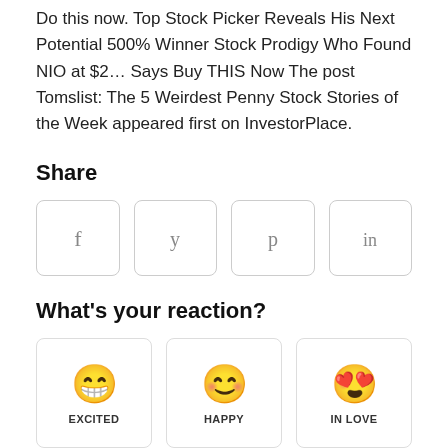Do this now. Top Stock Picker Reveals His Next Potential 500% Winner Stock Prodigy Who Found NIO at $2… Says Buy THIS Now The post Tomslist: The 5 Weirdest Penny Stock Stories of the Week appeared first on InvestorPlace.
Share
[Figure (infographic): Four social media share buttons in rounded rectangle boxes: Facebook (f), Twitter (bird/y), Pinterest (p), LinkedIn (in)]
What's your reaction?
[Figure (infographic): Three reaction cards with emoji icons and labels: EXCITED (laughing emoji), HAPPY (smiling emoji), IN LOVE (heart-eyes emoji)]